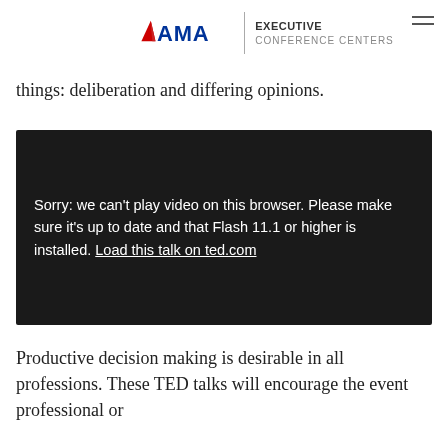AMA Executive Conference Centers
things: deliberation and differing opinions.
[Figure (screenshot): Dark video player showing error message: 'Sorry: we can't play video on this browser. Please make sure it's up to date and that Flash 11.1 or higher is installed. Load this talk on ted.com']
Productive decision making is desirable in all professions. These TED talks will encourage the event professional or